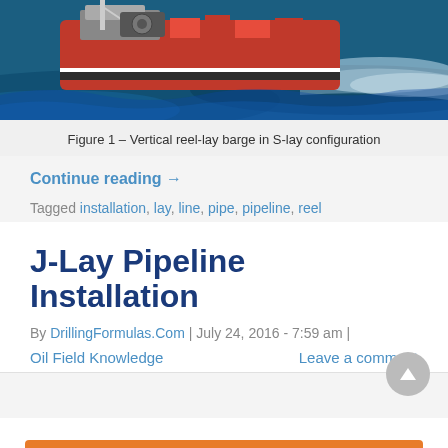[Figure (photo): Aerial view of a vertical reel-lay barge vessel at sea, red hull with equipment on deck, ocean waves visible]
Figure 1 – Vertical reel-lay barge in S-lay configuration
Continue reading →
Tagged installation, lay, line, pipe, pipeline, reel
J-Lay Pipeline Installation
By DrillingFormulas.Com | July 24, 2016 - 7:59 am |
Oil Field Knowledge    Leave a comment